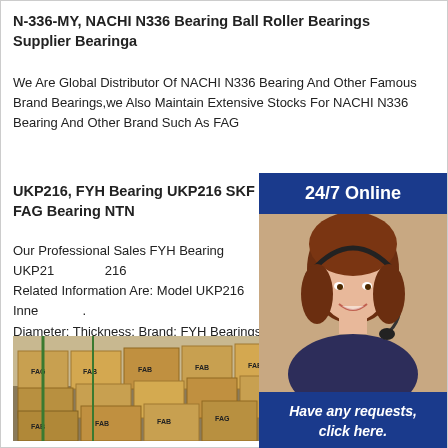N-336-MY, NACHI N336 Bearing Ball Roller Bearings Supplier Bearinga
We Are Global Distributor Of NACHI N336 Bearing And Other Famous Brand Bearings,we Also Maintain Extensive Stocks For NACHI N336 Bearing And Other Brand Such As FAG
UKP216, FYH Bearing UKP216 SKF Bearing NSK Bearing FAG Bearing NTN
Our Professional Sales FYH Bearing UKP216 ... UKP216 Related Information Are: Model UKP216 Inner Diameter: Thickness: Brand: FYH Bearings: ... Bearing, You Want To Know More About FYH...
[Figure (infographic): Customer service widget with '24/7 Online' header in dark blue, photo of smiling woman with headset, 'Have any requests, click here.' text in dark blue panel, and orange 'Quotation' button]
[Figure (photo): Warehouse interior showing stacks of FAB branded cardboard boxes]
Bearing